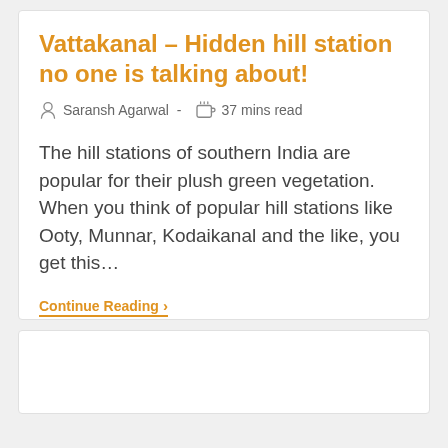Vattakanal – Hidden hill station no one is talking about!
Saransh Agarwal  -  37 mins read
The hill stations of southern India are popular for their plush green vegetation. When you think of popular hill stations like Ooty, Munnar, Kodaikanal and the like, you get this…
Continue Reading ›